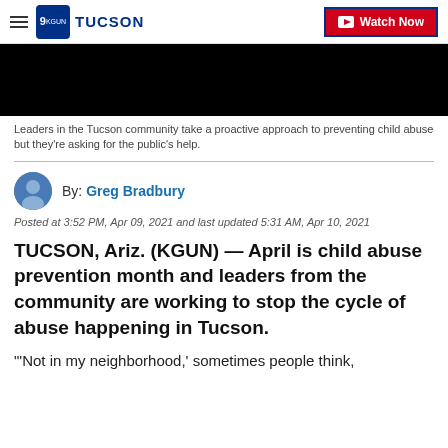TUCSON | Watch Now
[Figure (photo): Black video thumbnail image]
Leaders in the Tucson community take a proactive approach to preventing child abuse but they're asking for the public's help.
By: Greg Bradbury
Posted at 3:52 PM, Apr 09, 2021 and last updated 5:31 AM, Apr 10, 2021
TUCSON, Ariz. (KGUN) — April is child abuse prevention month and leaders from the community are working to stop the cycle of abuse happening in Tucson.
"'Not in my neighborhood,' sometimes people think,